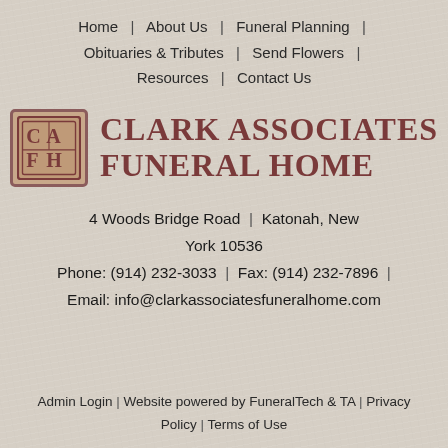Home | About Us | Funeral Planning | Obituaries & Tributes | Send Flowers | Resources | Contact Us
[Figure (logo): Clark Associates Funeral Home logo with CAFH monogram icon in a square border and company name in serif uppercase text]
4 Woods Bridge Road | Katonah, New York 10536
Phone: (914) 232-3033 | Fax: (914) 232-7896 |
Email: info@clarkassociatesfuneralhome.com
Admin Login | Website powered by FuneralTech & TA | Privacy Policy | Terms of Use